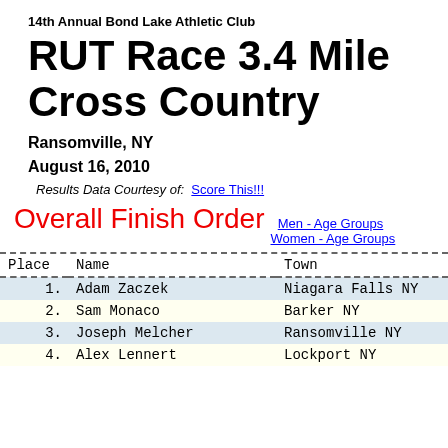14th Annual Bond Lake Athletic Club
RUT Race 3.4 Mile Cross Country
Ransomville, NY
August 16, 2010
Results Data Courtesy of: Score This!!!
Overall Finish Order   Men - Age Groups   Women - Age Groups
| Place | Name | Town |
| --- | --- | --- |
| 1. | Adam Zaczek | Niagara Falls NY |
| 2. | Sam Monaco | Barker NY |
| 3. | Joseph Melcher | Ransomville NY |
| 4. | Alex Lennert | Lockport NY |